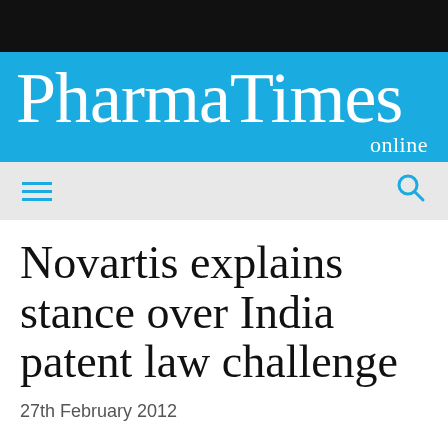[Figure (logo): PharmaTimes online logo on cyan/blue background with black bar above]
[Figure (other): Navigation bar with hamburger menu icon on left and search icon on right, light grey background]
Novartis explains stance over India patent law challenge
27th February 2012